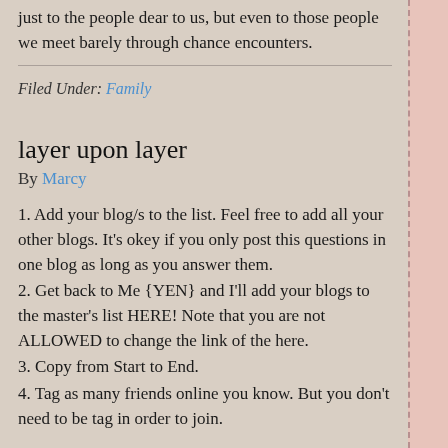just to the people dear to us, but even to those people we meet barely through chance encounters.
Filed Under: Family
layer upon layer
By Marcy
1. Add your blog/s to the list. Feel free to add all your other blogs. It's okey if you only post this questions in one blog as long as you answer them.
2. Get back to Me {YEN} and I'll add your blogs to the master's list HERE! Note that you are not ALLOWED to change the link of the here.
3. Copy from Start to End.
4. Tag as many friends online you know. But you don't need to be tag in order to join.